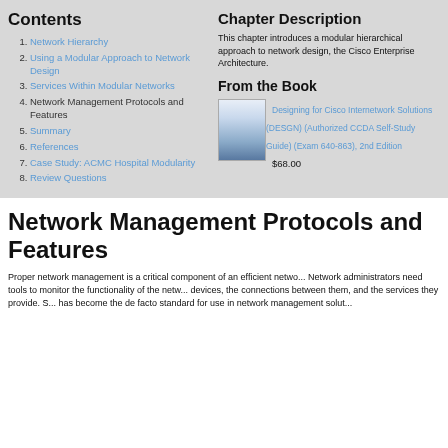Contents
1. Network Hierarchy
2. Using a Modular Approach to Network Design
3. Services Within Modular Networks
4. Network Management Protocols and Features
5. Summary
6. References
7. Case Study: ACMC Hospital Modularity
8. Review Questions
Chapter Description
This chapter introduces a modular hierarchical approach to network design, the Cisco Enterprise Architecture.
From the Book
[Figure (illustration): Book cover thumbnail for Designing for Cisco Internetwork Solutions]
Designing for Cisco Internetwork Solutions (DESGN) (Authorized CCDA Self-Study Guide) (Exam 640-863), 2nd Edition
$68.00
Network Management Protocols and Features
Proper network management is a critical component of an efficient netwo... Network administrators need tools to monitor the functionality of the netw... devices, the connections between them, and the services they provide. S... has become the de facto standard for use in network management solut...